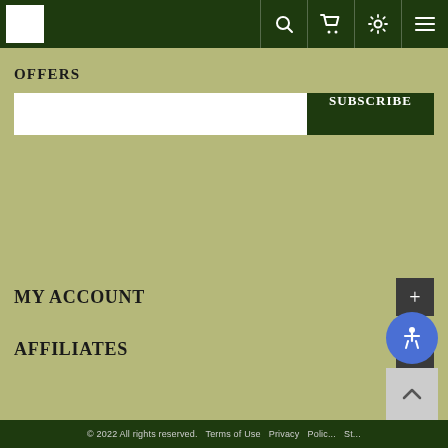[Figure (screenshot): Navigation bar with white logo box on left, and icons (search, cart, settings, menu) on right, dark green background]
OFFERS
[Figure (screenshot): Email input field with white background and dark green SUBSCRIBE button]
MY ACCOUNT
AFFILIATES
[Figure (screenshot): Blue accessibility icon button (wheelchair symbol) and gray scroll-to-top button]
© 2022 All rights reserved. Terms of Use   Privacy   Polic... St...